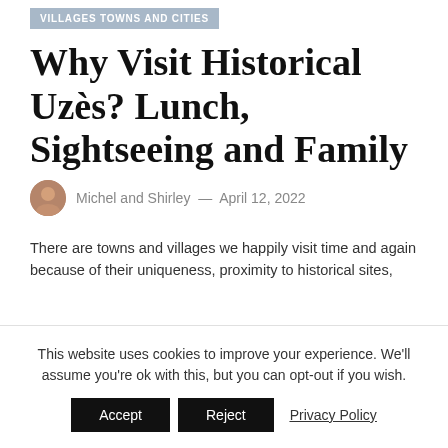VILLAGES TOWNS AND CITIES
Why Visit Historical Uzès? Lunch, Sightseeing and Family
Michel and Shirley — April 12, 2022
There are towns and villages we happily visit time and again because of their uniqueness, proximity to historical sites,
This website uses cookies to improve your experience. We'll assume you're ok with this, but you can opt-out if you wish.